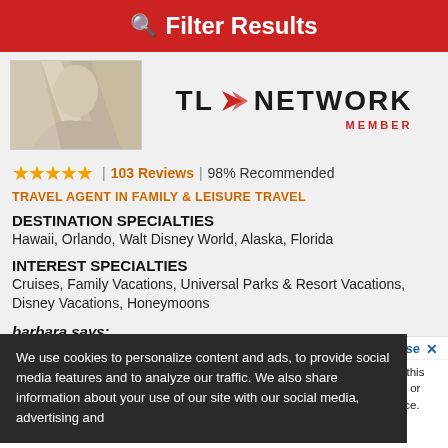Filter Results
[Figure (photo): Travel agent headshot photo, partially visible]
[Figure (logo): TL Network Member logo with red arrow]
★★★★★ | 103 Reviews | 98% Recommended
TRAVEL AGENT IN FAMILY & LEISURE TRAVEL
DESTINATION SPECIALTIES
Hawaii, Orlando, Walt Disney World, Alaska, Florida
INTEREST SPECIALTIES
Cruises, Family Vacations, Universal Parks & Resort Vacations, Disney Vacations, Honeymoons
barbara says:
...ow . and she has always ...stions even worked out
We use cookies to personalize content and ads, to provide social media features and to analyze our traffic. We also share information about your use of our site with our social media, advertising and analytics partners. More info
Accept and Close ✕
Your browser settings do not allow cross-site tracking for advertising. Click on this page to allow AdRoll to use cross-site tracking to tailor ads to you. Learn more or opt out of this AdRoll tracking by clicking here. This message only appears once.